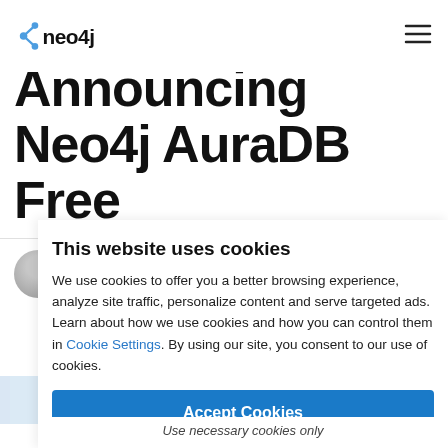neo4j [logo] [hamburger menu]
Announcing Neo4j AuraDB Free
David Allen, Senior Director of Developer Relations, Neo4j November ...
This website uses cookies
We use cookies to offer you a better browsing experience, analyze site traffic, personalize content and serve targeted ads.  Learn about how we use cookies and how you can control them in Cookie Settings. By using our site, you consent to our use of cookies.
Accept Cookies
Use necessary cookies only